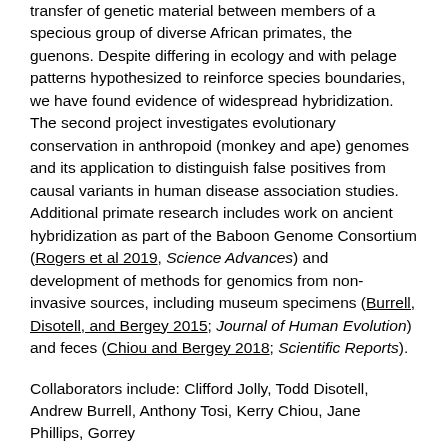transfer of genetic material between members of a specious group of diverse African primates, the guenons. Despite differing in ecology and with pelage patterns hypothesized to reinforce species boundaries, we have found evidence of widespread hybridization. The second project investigates evolutionary conservation in anthropoid (monkey and ape) genomes and its application to distinguish false positives from causal variants in human disease association studies. Additional primate research includes work on ancient hybridization as part of the Baboon Genome Consortium (Rogers et al 2019, Science Advances) and development of methods for genomics from non-invasive sources, including museum specimens (Burrell, Disotell, and Bergey 2015; Journal of Human Evolution) and feces (Chiou and Bergey 2018; Scientific Reports).
Collaborators include: Clifford Jolly, Todd Disotell, Andrew Burrell, Anthony Tosi, Kerry Chiou, Jane Phillips, Gorry...